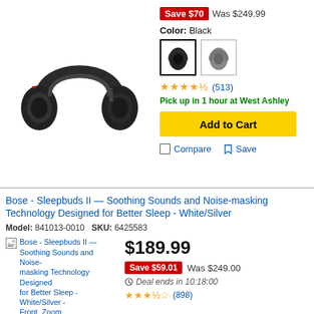[Figure (photo): Sony over-ear headphones in black, shown at angle]
Save $70  Was $249.99
Color: Black
[Figure (photo): Color swatch thumbnails: black headphones (selected) and silver/gray headphones]
★★★★½ (513)
Pick up in 1 hour at West Ashley
Add to Cart
Compare  Save
Bose - Sleepbuds II — Soothing Sounds and Noise-masking Technology Designed for Better Sleep - White/Silver
Model: 841013-0010  SKU: 6425583
[Figure (photo): Bose Sleepbuds II product image placeholder - White/Silver - Front_Zoom]
$189.99
Save $59.01  Was $249.00
Deal ends in 10:18:00
★★★½ (898)